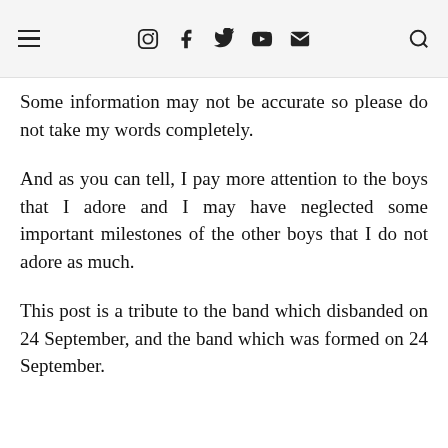[navigation bar with hamburger menu, social icons: instagram, facebook, twitter, youtube, email, and search]
Some information may not be accurate so please do not take my words completely.
And as you can tell, I pay more attention to the boys that I adore and I may have neglected some important milestones of the other boys that I do not adore as much.
This post is a tribute to the band which disbanded on 24 September, and the band which was formed on 24 September.